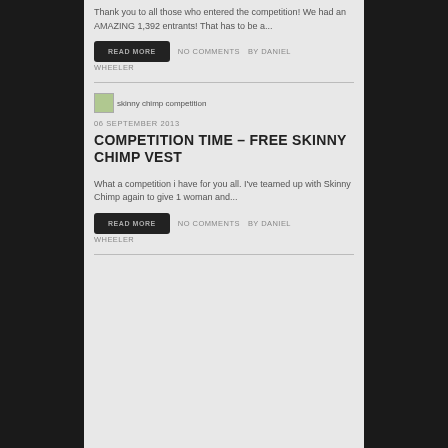Thank you to all those who entered the competition! We had an AMAZING 1,392 entrants! That has to be a...
READ MORE   NO COMMENTS   BY DANIEL WHEELER
[Figure (photo): Thumbnail image placeholder for skinny chimp competition]
06 SEPTEMBER 2013
COMPETITION TIME – FREE SKINNY CHIMP VEST
What a competition i have for you all. I've teamed up with Skinny Chimp again to give 1 woman and...
READ MORE   NO COMMENTS   BY DANIEL WHEELER